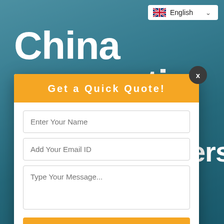[Figure (screenshot): Website screenshot showing a fiber optic product page background with blurred industrial equipment in teal/blue tones, overlaid with large white bold text reading 'China [Fiber] Optic [Manufactur]ers [Supp]liers']
China
Optic
r
acturers
liers
Get  a  Quick  Quote!
Enter Your Name
Add Your Email ID
Type Your Message...
Submit
Bwinners Fiber Optic Adapters